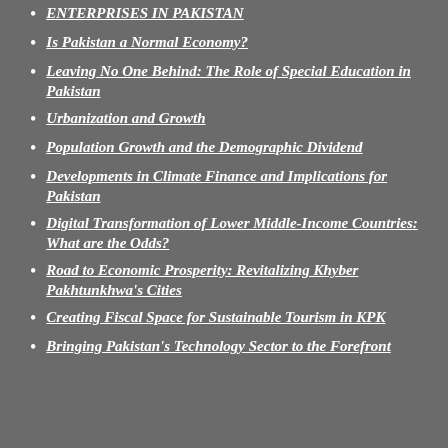ENTERPRISES IN PAKISTAN
Is Pakistan a Normal Economy?
Leaving No One Behind: The Role of Special Education in Pakistan
Urbanization and Growth
Population Growth and the Demographic Dividend
Developments in Climate Finance and Implications for Pakistan
Digital Transformation of Lower Middle-Income Countries: What are the Odds?
Road to Economic Prosperity: Revitalizing Khyber Pakhtunkhwa's Cities
Creating Fiscal Space for Sustainable Tourism in KPK
Bringing Pakistan's Technology Sector to the Forefront